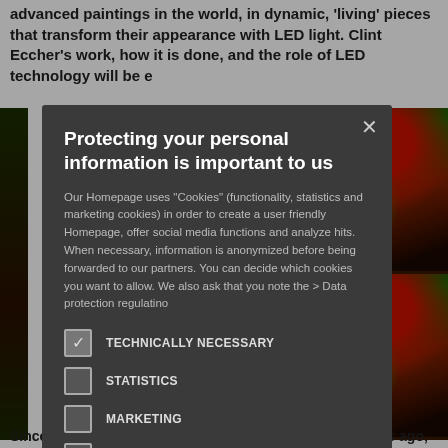advanced paintings in the world, in dynamic, 'living' pieces that transform their appearance with LED light. Clint Eccher's work, how it is done, and the role of LED technology will be e
[Figure (photo): Two photos of colorful paintings displayed on a wall with dramatic red, green, and dark tones, lit by LED lighting.]
[Figure (screenshot): Cookie consent modal dialog with dark background. Title: 'Protecting your personal information is important to us'. Body text about cookies. Checkboxes for: TECHNICALLY NECESSARY (checked), STATISTICS, MARKETING, FUNCTIONALITY.]
Since the very first cave paintings more than 30,000 years ago,